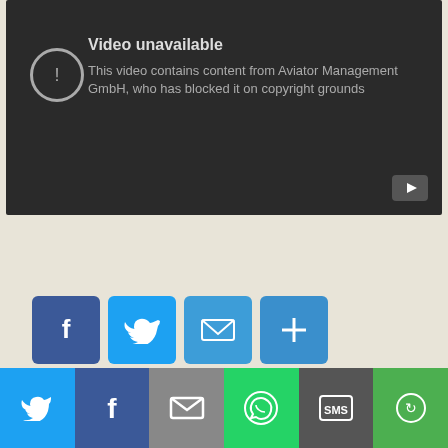[Figure (screenshot): YouTube video unavailable error screen with dark background. Shows exclamation icon and text: 'Video unavailable - This video contains content from Aviator Management GmbH, who has blocked it on copyright grounds'. YouTube play button icon in bottom right corner.]
[Figure (screenshot): Social sharing buttons row: Facebook (blue), Twitter (blue), Email (blue), Share plus (blue)]
Sharing is caring!
[Figure (screenshot): Second row of social sharing buttons: Twitter, Facebook, Pinterest, Email, and more. Bottom bar with Twitter, Facebook, Email, WhatsApp, SMS, and More buttons.]